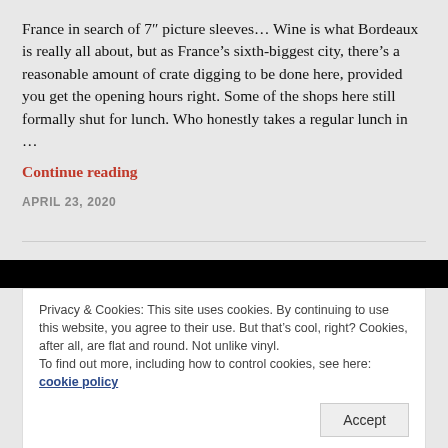France in search of 7" picture sleeves... Wine is what Bordeaux is really all about, but as France's sixth-biggest city, there's a reasonable amount of crate digging to be done here, provided you get the opening hours right. Some of the shops here still formally shut for lunch. Who honestly takes a regular lunch in ...
Continue reading
APRIL 23, 2020
Privacy & Cookies: This site uses cookies. By continuing to use this website, you agree to their use. But that's cool, right? Cookies, after all, are flat and round. Not unlike vinyl.
To find out more, including how to control cookies, see here: cookie policy
Accept